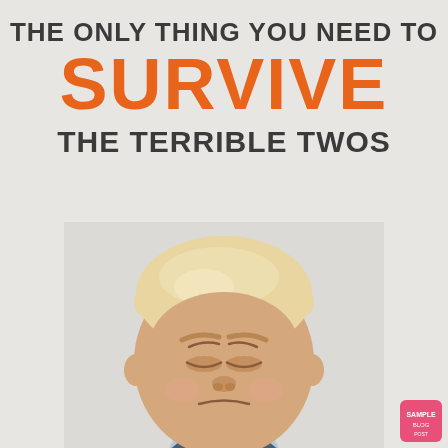THE ONLY THING YOU NEED TO SURVIVE THE TERRIBLE TWOS
[Figure (photo): A toddler with blonde hair looking downward with eyes closed and a frustrated/crying expression, wearing a light blue top, photographed against a light gray background.]